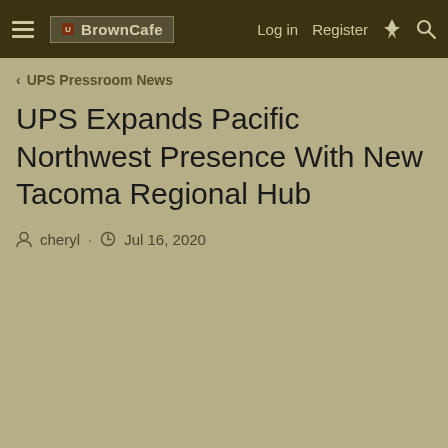BrownCafe — Log in   Register
< UPS Pressroom News
UPS Expands Pacific Northwest Presence With New Tacoma Regional Hub
cheryl · Jul 16, 2020